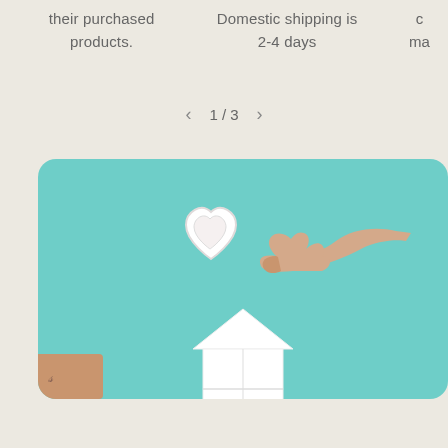their purchased products.
Domestic shipping is 2-4 days
ma
1/3
[Figure (photo): A hand holding a white heart-shaped tray/dish against a teal/mint background. Below is a white house-shaped shelf. Bottom left shows a partial hand with a tattoo.]